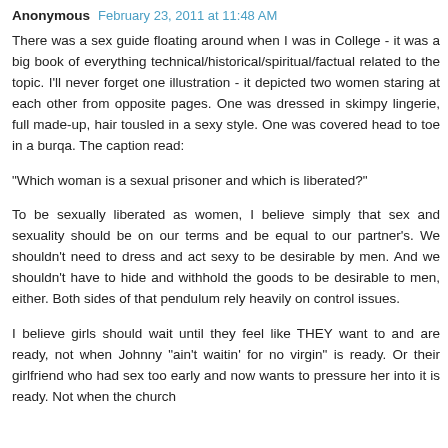Anonymous  February 23, 2011 at 11:48 AM
There was a sex guide floating around when I was in College - it was a big book of everything technical/historical/spiritual/factual related to the topic. I'll never forget one illustration - it depicted two women staring at each other from opposite pages. One was dressed in skimpy lingerie, full made-up, hair tousled in a sexy style. One was covered head to toe in a burqa. The caption read:
"Which woman is a sexual prisoner and which is liberated?"
To be sexually liberated as women, I believe simply that sex and sexuality should be on our terms and be equal to our partner's. We shouldn't need to dress and act sexy to be desirable by men. And we shouldn't have to hide and withhold the goods to be desirable to men, either. Both sides of that pendulum rely heavily on control issues.
I believe girls should wait until they feel like THEY want to and are ready, not when Johnny "ain't waitin' for no virgin" is ready. Or their girlfriend who had sex too early and now wants to pressure her into it is ready. Not when the church